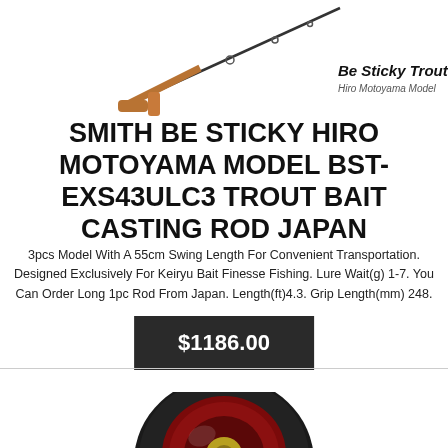[Figure (photo): Fishing rod image - a slim casting rod with a copper/bronze colored handle section, shown diagonally. Brand label 'Be Sticky Trout / Hiro Motoyama Model' in italic text to the right.]
SMITH BE STICKY HIRO MOTOYAMA MODEL BST-EXS43ULC3 TROUT BAIT CASTING ROD JAPAN
3pcs Model With A 55cm Swing Length For Convenient Transportation. Designed Exclusively For Keiryu Bait Finesse Fishing. Lure Wait(g) 1-7. You Can Order Long 1pc Rod From Japan. Length(ft)4.3. Grip Length(mm) 248.
$1186.00
[Figure (photo): A black camera lens or fisheye lens adapter, circular shape with red lens glass visible, shown from the front at slight angle. Bottom portion of image is cut off.]